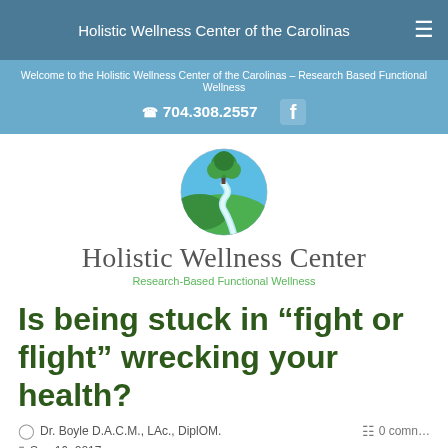Holistic Wellness Center of the Carolinas
Welcome to the Holistic Wellness Center of the Carolinas – Research Based Functional Wellness
☎ 704.308.2557
[Figure (logo): Circular logo with green tree and winding path on green/blue background]
Holistic Wellness Center
Research-Based Functional Wellness
Is being stuck in “fight or flight” wrecking your health?
Dr. Boyle D.A.C.M., LAc., DiplOM.
0 comments
Sep 16, 2017